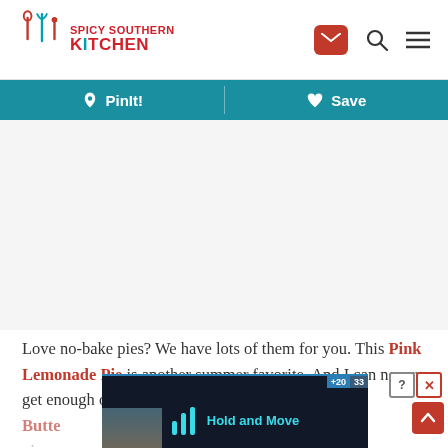Spicy Southern Kitchen — header with logo, mail icon, search icon, menu icon
[Figure (screenshot): Spicy Southern Kitchen website navigation bar with teal/red logo, mail button, search and hamburger icons]
♡ PinIt!   ♥ Save — social sharing toolbar
[Figure (other): Advertisement placeholder area (blank white/gray space)]
Love no-bake pies? We have lots of them for you. This Pink Lemonade Pie is another summer favorite. And I can never get enough of this No-Bake Peanut Butte[r] pinea[pple]
[Figure (screenshot): Partially visible Hold and Move advertisement banner at bottom of screen with close buttons]